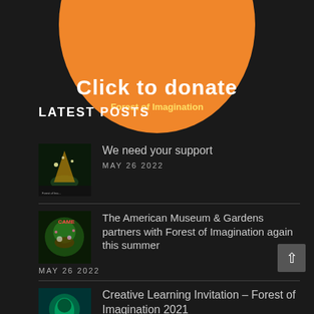[Figure (illustration): Orange circle button with white bold text 'Click to donate' and yellow subtitle 'Forest of Imagination']
LATEST POSTS
[Figure (photo): Thumbnail image of a forest/light artwork at night]
We need your support
MAY 26 2022
[Figure (photo): Thumbnail colorful forest of imagination artwork]
The American Museum & Gardens partners with Forest of Imagination again this summer
MAY 26 2022
[Figure (photo): Thumbnail creative learning colorful mushroom forest art]
Creative Learning Invitation – Forest of Imagination 2021